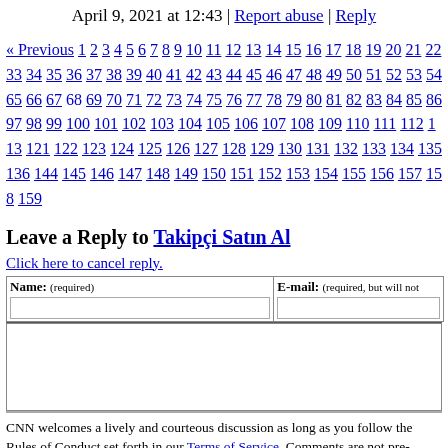April 9, 2021 at 12:43 | Report abuse | Reply
« Previous 1 2 3 4 5 6 7 8 9 10 11 12 13 14 15 16 17 18 19 20 21 22 33 34 35 36 37 38 39 40 41 42 43 44 45 46 47 48 49 50 51 52 53 54 65 66 67 68 69 70 71 72 73 74 75 76 77 78 79 80 81 82 83 84 85 86 97 98 99 100 101 102 103 104 105 106 107 108 109 110 111 112 113 121 122 123 124 125 126 127 128 129 130 131 132 133 134 135 136 144 145 146 147 148 149 150 151 152 153 154 155 156 157 158 159
Leave a Reply to Takipçi Satın Al
Click here to cancel reply.
Name: (required)   E-mail: (required, but will not be published)
CNN welcomes a lively and courteous discussion as long as you follow the Rules of Conduct set forth in our Terms of Service. Comments are not pre-screened before they post. You agree that anything you post may be used, along with your name and profile picture, in accordance with our Privacy Policy and the license you have granted pursuant to our Terms of Service.